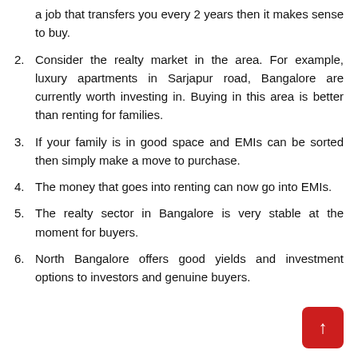a job that transfers you every 2 years then it makes sense to buy.
Consider the realty market in the area. For example, luxury apartments in Sarjapur road, Bangalore are currently worth investing in. Buying in this area is better than renting for families.
If your family is in good space and EMIs can be sorted then simply make a move to purchase.
The money that goes into renting can now go into EMIs.
The realty sector in Bangalore is very stable at the moment for buyers.
North Bangalore offers good yields and investment options to investors and genuine buyers.